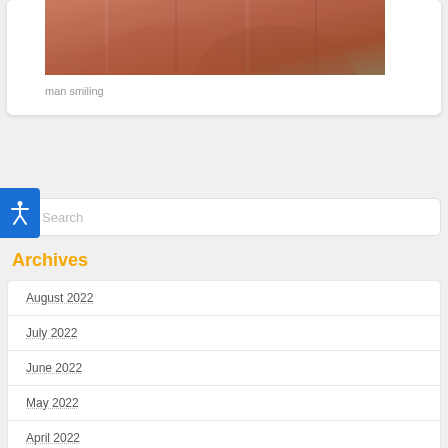[Figure (photo): Partial view of a man wearing an orange/salmon colored garment, cropped photo at top of card]
man smiling
Search
Archives
August 2022
July 2022
June 2022
May 2022
April 2022